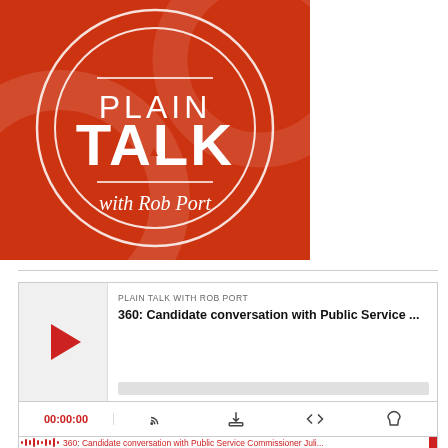[Figure (logo): Plain Talk with Rob Port podcast logo — red/orange square with two concentric white circles, 'PLAIN' in medium weight white text, 'TALK' in large bold white text, 'with Rob Port' in italic white text below]
PLAIN TALK WITH ROB PORT
360: Candidate conversation with Public Service ...
00:00:00
360: Candidate conversation with Public Service Commissioner Juli...
01:03:39
08/31/2022